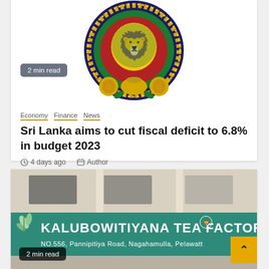[Figure (logo): Sri Lanka national emblem/coat of arms – golden lion on red and green circular background with ornate decorative border, yellow/green color scheme]
2 min read
Economy  Finance  News
Sri Lanka aims to cut fiscal deficit to 6.8% in budget 2023
4 days ago   Author
[Figure (photo): Photo of Kalubowitiyana Tea Factory sign: teal/green background with white text 'KALUBOWITIYANA TEA FACTORY' and address 'NO.556, Pannipitiya Road, Nagahamulla, Pelawatta', with a small leaf logo on the left]
2 min read